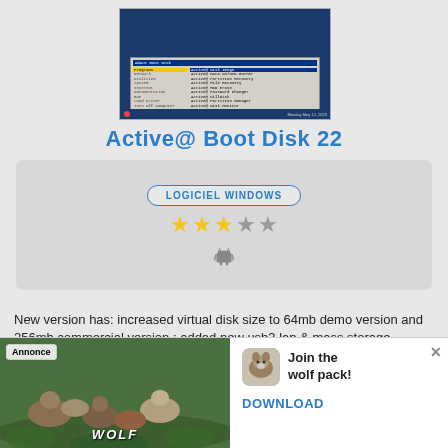[Figure (screenshot): Screenshot of Active@ Boot Disk software interface showing a menu with options like Programs, Network, Utilities, System, Internet, Documentation, Run, Load Driver, Turn Off Computer on the left, and Active@ programs list on the right including Active@ Data CD/DVD Burner, Active@ Partition Recovery, Active@ File Recovery, Active@ HDD Erase, Active@ Password Changer, Active@ KillDisk, Active@ Partition Manager, Active@ Disk Monitor]
Active@ Boot Disk 22
[Figure (infographic): Info box with LOGICIEL WINDOWS badge, 3 filled stars and 2 empty stars rating, and an Android icon]
New version has: increased virtual disk size to 64mb demo version and 256mb commercial version ; added new usb3 lan & mass storage drivers 200
[Figure (photo): Advertisement showing wolves in a green field with text WOLF, alongside a wolf app icon, text 'Join the wolf pack!' and a DOWNLOAD button]